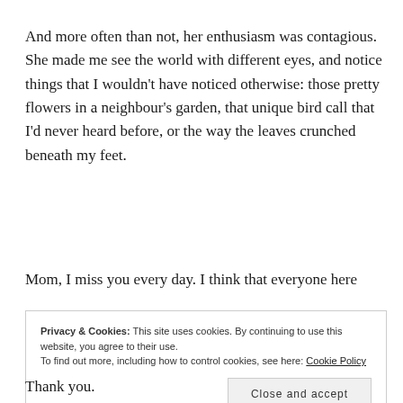And more often than not, her enthusiasm was contagious. She made me see the world with different eyes, and notice things that I wouldn't have noticed otherwise: those pretty flowers in a neighbour's garden, that unique bird call that I'd never heard before, or the way the leaves crunched beneath my feet.
Mom, I miss you every day. I think that everyone here
Privacy & Cookies: This site uses cookies. By continuing to use this website, you agree to their use.
To find out more, including how to control cookies, see here: Cookie Policy
Close and accept
Thank you.